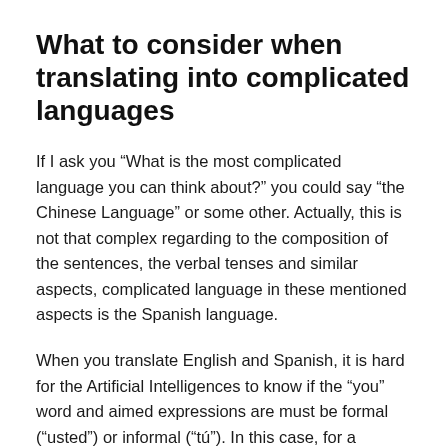What to consider when translating into complicated languages
If I ask you “What is the most complicated language you can think about?” you could say “the Chinese Language” or some other. Actually, this is not that complex regarding to the composition of the sentences, the verbal tenses and similar aspects, complicated language in these mentioned aspects is the Spanish language.
When you translate English and Spanish, it is hard for the Artificial Intelligences to know if the “you” word and aimed expressions are must be formal (“usted”) or informal (“tú”). In this case, for a machine, it is needed for the system to analyze the